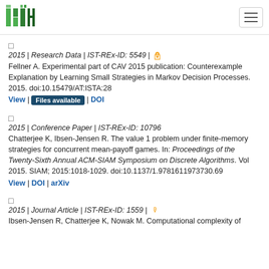ISTA logo and navigation
2015 | Research Data | IST-REx-ID: 5549 | [open access]
Fellner A. Experimental part of CAV 2015 publication: Counterexample Explanation by Learning Small Strategies in Markov Decision Processes. 2015. doi:10.15479/AT:ISTA:28
View | Files available | DOI
2015 | Conference Paper | IST-REx-ID: 10796
Chatterjee K, Ibsen-Jensen R. The value 1 problem under finite-memory strategies for concurrent mean-payoff games. In: Proceedings of the Twenty-Sixth Annual ACM-SIAM Symposium on Discrete Algorithms. Vol 2015. SIAM; 2015:1018-1029. doi:10.1137/1.9781611973730.69
View | DOI | arXiv
2015 | Journal Article | IST-REx-ID: 1559 | [open access]
Ibsen-Jensen R, Chatterjee K, Nowak M. Computational complexity of